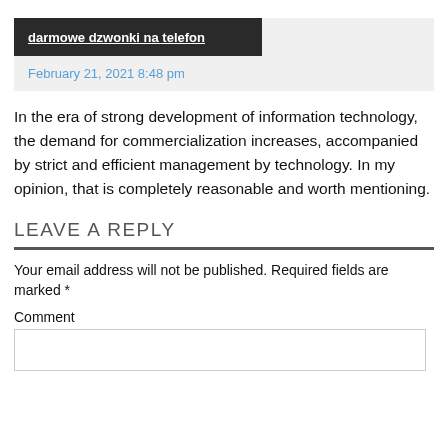darmowe dzwonki na telefon
February 21, 2021 8:48 pm
In the era of strong development of information technology, the demand for commercialization increases, accompanied by strict and efficient management by technology. In my opinion, that is completely reasonable and worth mentioning.
LEAVE A REPLY
Your email address will not be published. Required fields are marked *
Comment